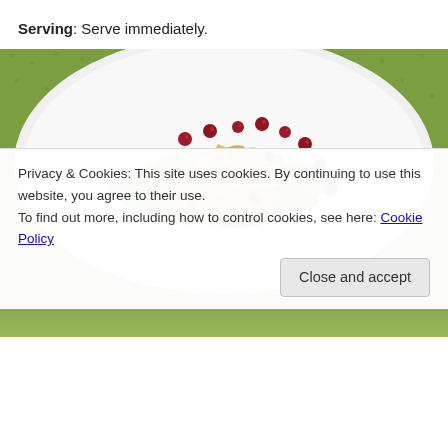Serving: Serve immediately.
[Figure (photo): A white plate with a salad topped with grilled chicken pieces, green lettuce leaves, pomegranate seeds, and crispy toppings, on a green textured background.]
Privacy & Cookies: This site uses cookies. By continuing to use this website, you agree to their use.
To find out more, including how to control cookies, see here: Cookie Policy
Close and accept